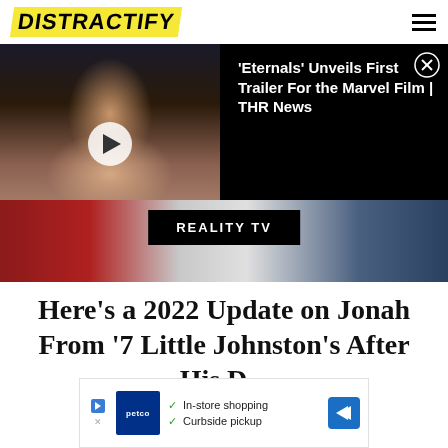DISTRACTIFY
[Figure (screenshot): Video thumbnail showing a woman in formal attire at an event, with black background and a play button overlay. Right panel shows video title on black background with close button.]
'Eternals' Unveils First Trailer For the Marvel Film | THR News
REALITY TV
Here's a 2022 Update on Jonah From '7 Little Johnston's After His D...
[Figure (other): Petco advertisement banner showing store services: In-store shopping and Curbside pickup]